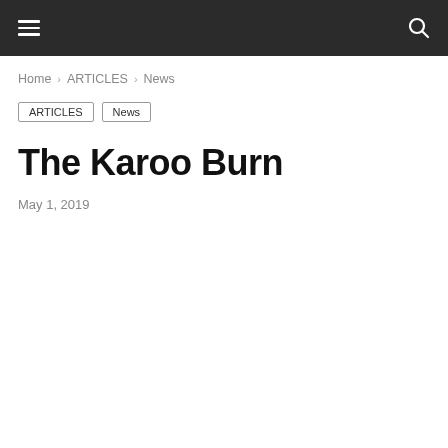☰ [menu] [search]
Home › ARTICLES › News
ARTICLES
News
The Karoo Burn
May 1, 2019